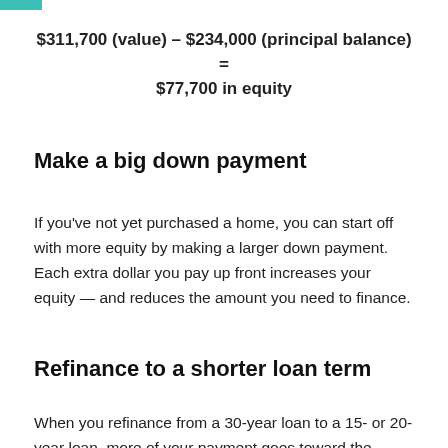$311,700 (value) – $234,000 (principal balance) = $77,700 in equity
Make a big down payment
If you've not yet purchased a home, you can start off with more equity by making a larger down payment. Each extra dollar you pay up front increases your equity — and reduces the amount you need to finance.
Refinance to a shorter loan term
When you refinance from a 30-year loan to a 15- or 20-year loan, more of your payment goes toward the